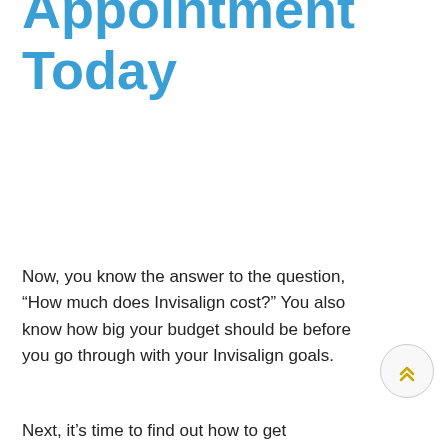Invisalign Appointment Today
Now, you know the answer to the question, “How much does Invisalign cost?” You also know how big your budget should be before you go through with your Invisalign goals.
Next, it’s time to find out how to get Invisalign.
Do you want to get an Invisalign treatment estimate? Contact us today at San Diego Invisalign for a free consultation